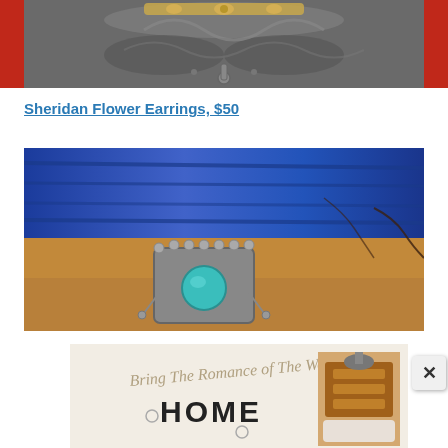[Figure (photo): Close-up photo of decorative gray embossed leather or metal item with gold ornamental details at top, red background visible on sides]
Sheridan Flower Earrings, $50
[Figure (photo): Close-up photo of a turquoise stone set in a silver beaded ring or jewelry piece, resting on a blue and brown textured wooden surface]
[Figure (photo): Advertisement banner reading 'Bring The Romance of The West HOME' with decorative cake or furniture image on the right]